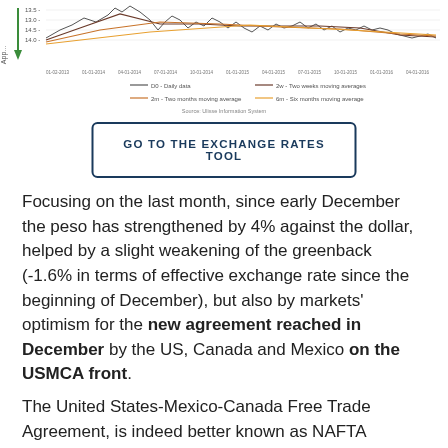[Figure (continuous-plot): Line chart showing exchange rate data with multiple moving averages (daily data, two weeks moving average, two months moving average, six months moving average). Legend shown below chart with source: Ulisse Information System.]
GO TO THE EXCHANGE RATES TOOL
Focusing on the last month, since early December the peso has strengthened by 4% against the dollar, helped by a slight weakening of the greenback (-1.6% in terms of effective exchange rate since the beginning of December), but also by markets' optimism for the new agreement reached in December by the US, Canada and Mexico on the USMCA front.
The United States-Mexico-Canada Free Trade Agreement, is indeed better known as NAFTA